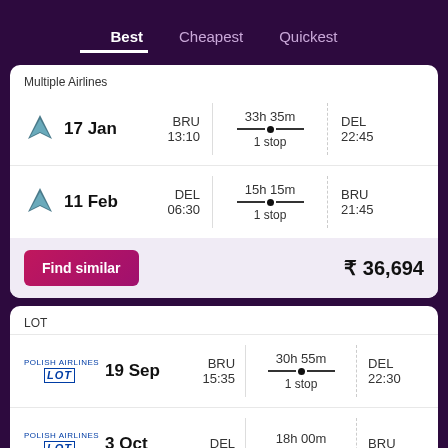Best | Cheapest | Quickest
Multiple Airlines
17 Jan | BRU 13:10 | 33h 35m 1 stop | DEL 22:45
11 Feb | DEL 06:30 | 15h 15m 1 stop | BRU 21:45
Find similar | ₹ 36,694
LOT
19 Sep | BRU 15:35 | 30h 55m 1 stop | DEL 22:30
3 Oct | DEL | 18h 00m | BRU